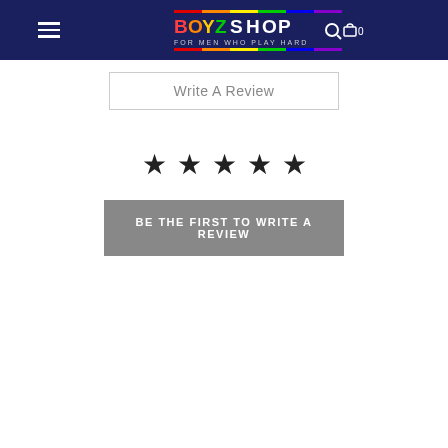[Figure (screenshot): Website header with dark navy background, hamburger menu icon on the left, BoyzShop logo in center (colorful rainbow gradient text), search icon and cart icon with 0 on the right]
Write A Review
[Figure (other): Five filled black star icons in a row representing a 5-star rating system]
BE THE FIRST TO WRITE A REVIEW